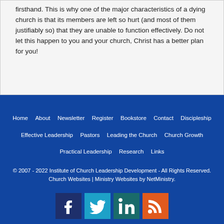firsthand. This is why one of the major characteristics of a dying church is that its members are left so hurt (and most of them justifiably so) that they are unable to function effectively. Do not let this happen to you and your church, Christ has a better plan for you!
Home | About | Newsletter | Register | Bookstore | Contact | Discipleship | Effective Leadership | Pastors | Leading the Church | Church Growth | Practical Leadership | Research | Links
© 2007 - 2022 Institute of Church Leadership Development - All Rights Reserved.
Church Websites | Ministry Websites by NetMinistry.
[Figure (other): Social media icons: Facebook, Twitter, LinkedIn, RSS feed]